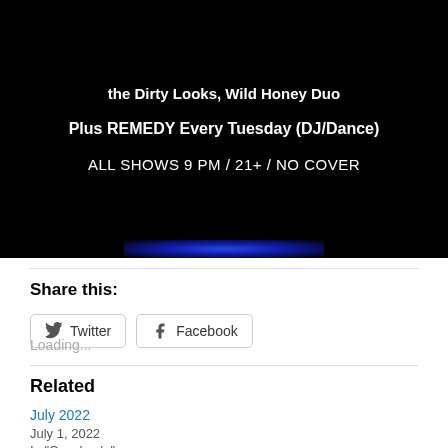[Figure (photo): Dark/black background promotional image for a music venue showing event details in white text with a blue glow at the bottom. Text reads: 'the Dirty Looks, Wild Honey Duo', 'Plus REMEDY Every Tuesday (DJ/Dance)', 'ALL SHOWS 9 PM / 21+ / NO COVER']
Share this:
Twitter  Facebook
Loading...
Related
July 2022
July 1, 2022
In "Cavalcade"